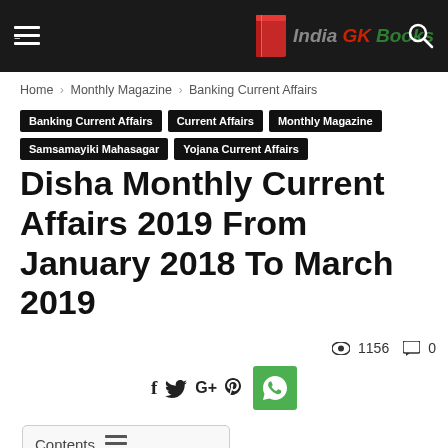India GK Books — header bar with hamburger menu and search icon
Home › Monthly Magazine › Banking Current Affairs
Banking Current Affairs
Current Affairs
Monthly Magazine
Samsamayiki Mahasagar
Yojana Current Affairs
Disha Monthly Current Affairs 2019 From January 2018 To March 2019
1156 views  0 comments
[Figure (other): Social share icons: Facebook, Twitter, Google+, Pinterest, WhatsApp]
Contents
Disha Monthly Current Affairs